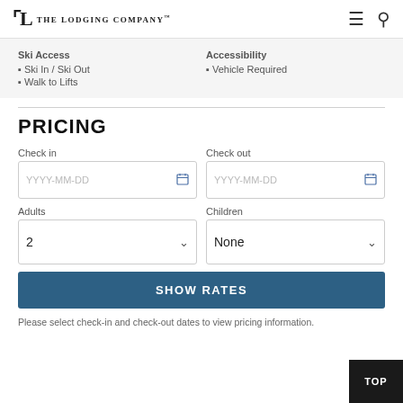The Lodging Company
Ski Access
• Ski In / Ski Out
• Walk to Lifts
Accessibility
• Vehicle Required
PRICING
Check in | YYYY-MM-DD
Check out | YYYY-MM-DD
Adults: 2
Children: None
SHOW RATES
Please select check-in and check-out dates to view pricing information.